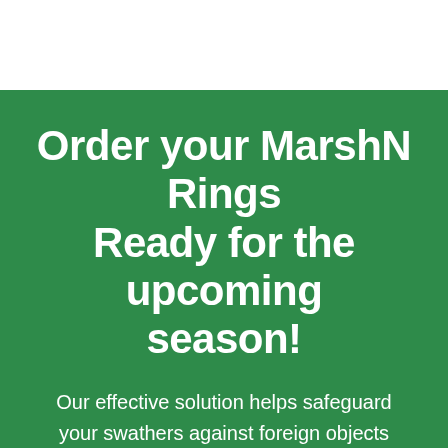Order your MarshN Rings Ready for the upcoming season!
Our effective solution helps safeguard your swathers against foreign objects by reducing wear and tear and prolonging the life of your equipment. Contact the office on 07 533 1887 or Neville on 0274970315 for more